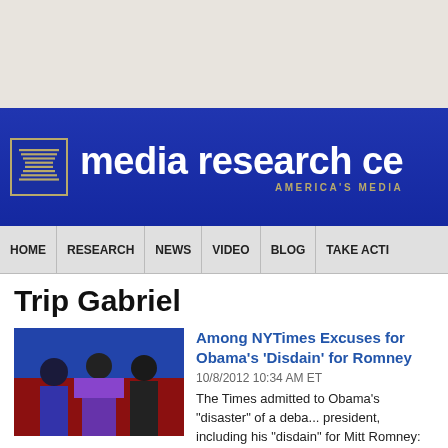[Figure (screenshot): Top gray background area of website]
[Figure (logo): Media Research Center blue banner with logo and title 'media research ce...' and subtitle 'AMERICA'S MEDIA']
HOME | RESEARCH | NEWS | VIDEO | BLOG | TAKE ACTI...
Trip Gabriel
[Figure (photo): Photo of people at a debate podium]
Among NYTimes Excuses for Obama's 'Disdain' for Romney
10/8/2012 10:34 AM ET
The Times admitted to Obama's "disaster" of a deba... president, including his "disdain" for Mitt Romney: "L... debate preparations ...
[Figure (photo): Partial photo visible at bottom of page]
NYT's Trip Gabriel Defends Biden's 'Str...